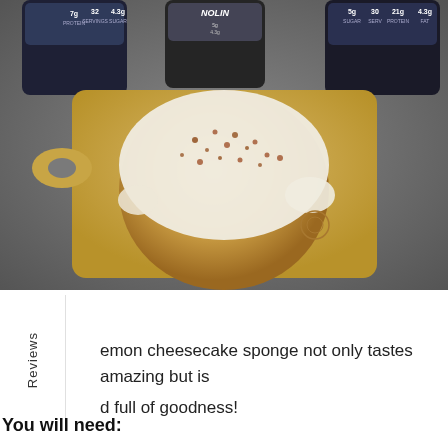[Figure (photo): A large cinnamon roll with cream cheese frosting and brown sugar sprinkles on a wooden cutting board, photographed on a gray counter surface with protein supplement containers in the background.]
Reviews
emon cheesecake sponge not only tastes amazing but is d full of goodness!
You will need: